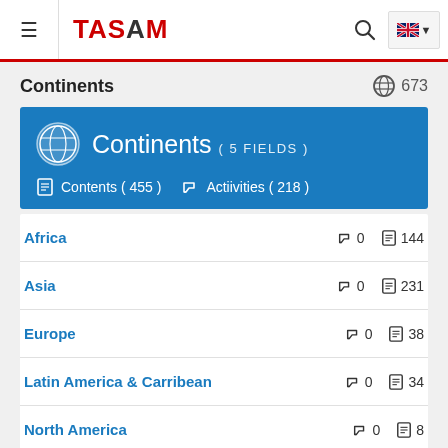TASAM — Continents
Continents — 673
[Figure (infographic): Blue banner showing Continents category with 5 fields, Contents (455) and Activities (218)]
Africa — Activities: 0 — Contents: 144
Asia — Activities: 0 — Contents: 231
Europe — Activities: 0 — Contents: 38
Latin America & Carribean — Activities: 0 — Contents: 34
North America — Activities: 0 — Contents: 8